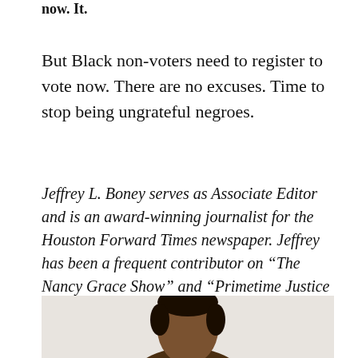now. It.
But Black non-voters need to register to vote now. There are no excuses. Time to stop being ungrateful negroes.
Jeffrey L. Boney serves as Associate Editor and is an award-winning journalist for the Houston Forward Times newspaper. Jeffrey has been a frequent contributor on “The Nancy Grace Show” and “Primetime Justice with Ashleigh Banfield.”
[Figure (photo): Photo of Jeffrey L. Boney, partial view showing top of head]